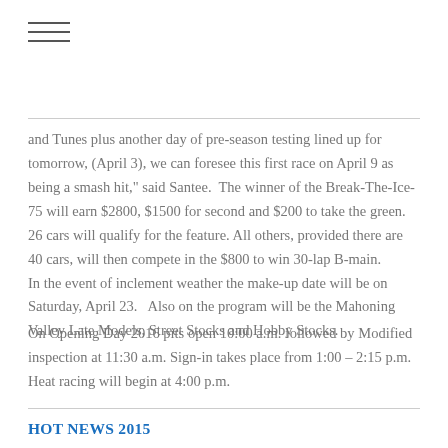≡
and Tunes plus another day of pre-season testing lined up for tomorrow, (April 3), we can foresee this first race on April 9 as being a smash hit," said Santee.  The winner of the Break-The-Ice-75 will earn $2800, $1500 for second and $200 to take the green. 26 cars will qualify for the feature. All others, provided there are 40 cars, will then compete in the $800 to win 30-lap B-main.          In the event of inclement weather the make-up date will be on Saturday, April 23.   Also on the program will be the Mahoning Valley Late Models, Street Stocks and Hobby Stocks.
On Opening Day 2016 pits open 10:00 a.m. followed by Modified inspection at 11:30 a.m. Sign-in takes place from 1:00 – 2:15 p.m. Heat racing will begin at 4:00 p.m.
HOT NEWS 2015